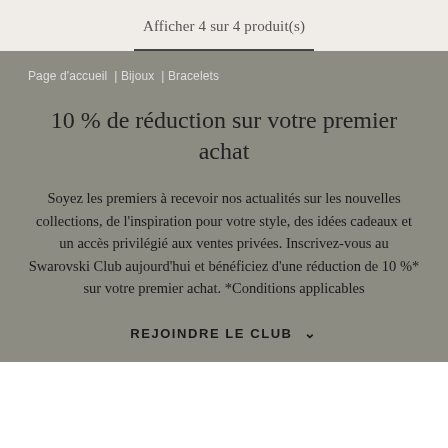Afficher 4 sur 4 produit(s)
Page d'accueil | Bijoux | Bracelets
10 % de réduction sur votre premier achat
Soyez les premiers à recevoir nos actualités sur les nouvelles collections, de l'inspiration pour votre style, des idées cadeaux et un accès privilégié aux ventes privées. Inscrivez-vous au Swarovski Club aujourd'hui et bénéficiez d'une réduction de 10 %* sur votre premier achat. *Conditions applicables
REJOINDRE LE CLUB ∨